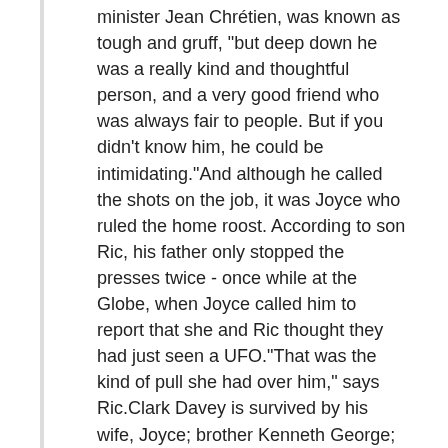minister Jean Chrétien, was known as tough and gruff, "but deep down he was a really kind and thoughtful person, and a very good friend who was always fair to people. But if you didn't know him, he could be intimidating."And although he called the shots on the job, it was Joyce who ruled the home roost. According to son Ric, his father only stopped the presses twice - once while at the Globe, when Joyce called him to report that she and Ric thought they had just seen a UFO."That was the kind of pull she had over him," says Ric.Clark Davey is survived by his wife, Joyce; brother Kenneth George; children Ric (Rita Celli), Kevin (Margaret) and Clark Jr. (... https://ottawacitizen.com/news/local-news/clark-davey-1928-2019-the-true-journalist-of-journalists
BRIAN DAVID MUEHLMAN - Burlington County Times
Wednesday, March 27, 2019
Brian enjoyed hunting and fishing. He was an avid whitetail deer hunter, traveling throughout United States and Canada hunting with his grandson, Kurt. Brian was a USCG Charter Captain on Lake Ontario for 15 years. His